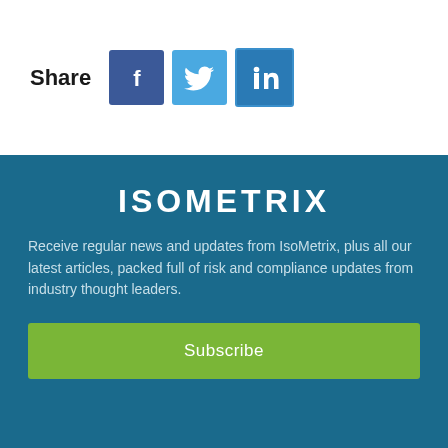Share
[Figure (infographic): Social media share icons: Facebook (dark blue), Twitter (light blue), LinkedIn (medium blue)]
ISOMETRIX
Receive regular news and updates from IsoMetrix, plus all our latest articles, packed full of risk and compliance updates from industry thought leaders.
Subscribe